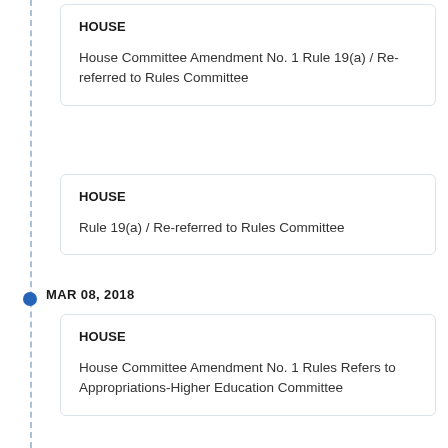HOUSE
House Committee Amendment No. 1 Rule 19(a) / Re-referred to Rules Committee
HOUSE
Rule 19(a) / Re-referred to Rules Committee
MAR 08, 2018
HOUSE
House Committee Amendment No. 1 Rules Refers to Appropriations-Higher Education Committee